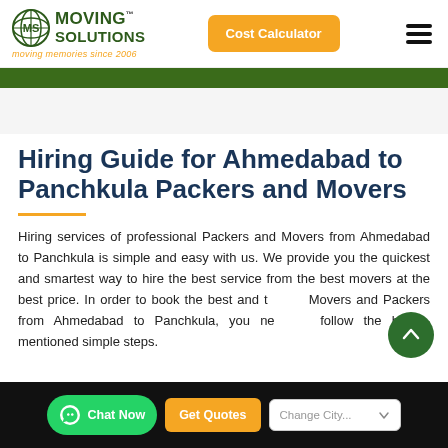[Figure (logo): Moving Solutions logo with globe icon, green text 'MOVING SOLUTIONS TM' and orange tagline 'moving memories since 2006']
[Figure (other): Orange 'Cost Calculator' button]
[Figure (other): Hamburger menu icon (three horizontal bars)]
Hiring Guide for Ahmedabad to Panchkula Packers and Movers
Hiring services of professional Packers and Movers from Ahmedabad to Panchkula is simple and easy with us. We provide you the quickest and smartest way to hire the best service from the best movers at the best price. In order to book the best and trusted Movers and Packers from Ahmedabad to Panchkula, you need to follow the below-mentioned simple steps.